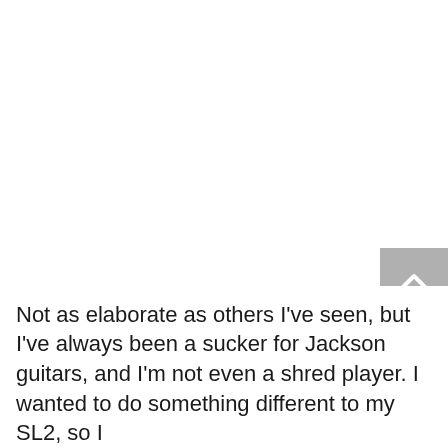[Figure (other): Scroll-to-top button: a light grey square with a white upward-pointing chevron arrow icon, positioned in the lower-right of the page above a close (X) button.]
Not as elaborate as others I've seen, but I've always been a sucker for Jackson guitars, and I'm not even a shred player. I wanted to do something different to my SL2, so I installed EMG Bone Nicholson Custom or EMG Bone Custom...